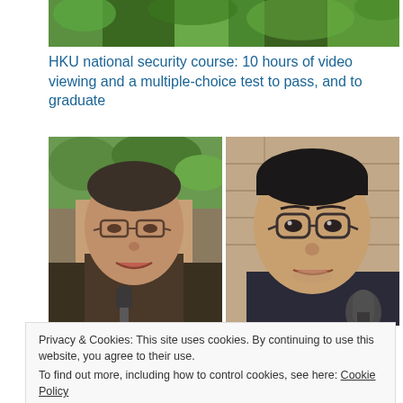[Figure (photo): Partial top photo showing green foliage/garden background]
HKU national security course: 10 hours of video viewing and a multiple-choice test to pass, and to graduate
[Figure (photo): Side-by-side photos of Benny Tai (left, older man with glasses speaking into microphone outdoors) and Joshua Wong (right, younger man with glasses speaking into microphone)]
Privacy & Cookies: This site uses cookies. By continuing to use this website, you agree to their use.
To find out more, including how to control cookies, see here: Cookie Policy
Close and accept
Benny Tai and Joshua Wong among 29 Hong Kong democrats